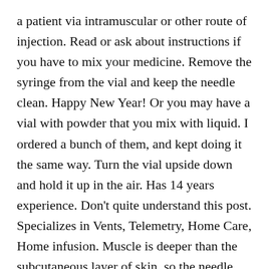a patient via intramuscular or other route of injection. Read or ask about instructions if you have to mix your medicine. Remove the syringe from the vial and keep the needle clean. Happy New Year! Or you may have a vial with powder that you mix with liquid. I ordered a bunch of them, and kept doing it the same way. Turn the vial upside down and hold it up in the air. Has 14 years experience. Don't quite understand this post. Specializes in Vents, Telemetry, Home Care, Home infusion. Muscle is deeper than the subcutaneous layer of skin, so the needle used for intramuscular injections must be thicker and longer. I ALWAYS change my needle out prior to any adm (not